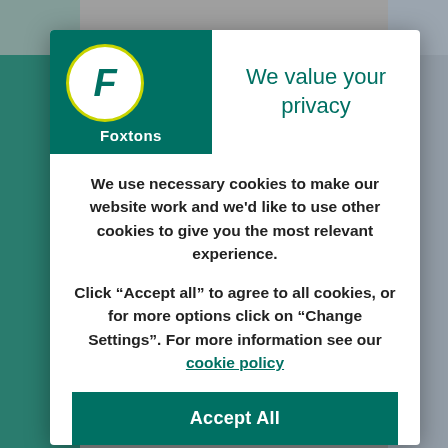[Figure (logo): Foxtons logo: teal background with circular badge containing yellow-bordered circle with italic F, and 'Foxtons' text below in white]
We value your privacy
We use necessary cookies to make our website work and we'd like to use other cookies to give you the most relevant experience.
Click “Accept all” to agree to all cookies, or for more options click on “Change Settings”. For more information see our cookie policy
Accept All